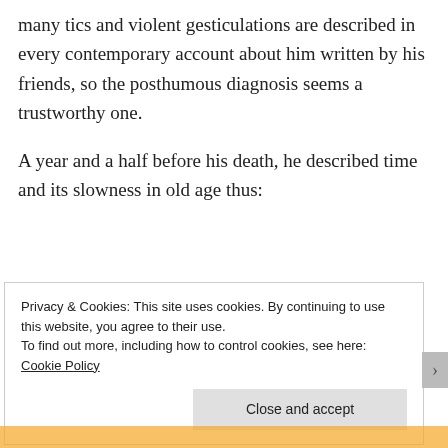many tics and violent gesticulations are described in every contemporary account about him written by his friends, so the posthumous diagnosis seems a trustworthy one.
A year and a half before his death, he described time and its slowness in old age thus:
Privacy & Cookies: This site uses cookies. By continuing to use this website, you agree to their use.
To find out more, including how to control cookies, see here: Cookie Policy
Close and accept